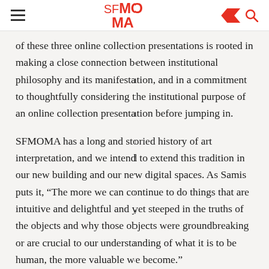SFMOMA
of these three online collection presentations is rooted in making a close connection between institutional philosophy and its manifestation, and in a commitment to thoughtfully considering the institutional purpose of an online collection presentation before jumping in.
SFMOMA has a long and storied history of art interpretation, and we intend to extend this tradition in our new building and our new digital spaces. As Samis puts it, “The more we can continue to do things that are intuitive and delightful and yet steeped in the truths of the objects and why those objects were groundbreaking or are crucial to our understanding of what it is to be human, the more valuable we become.”